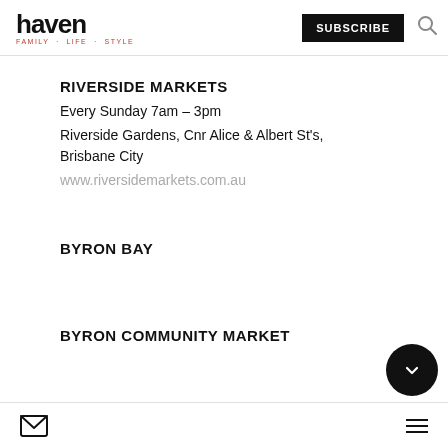haven FAMILY · LIFE · STYLE | SUBSCRIBE
RIVERSIDE MARKETS
Every Sunday 7am – 3pm
Riverside Gardens, Cnr Alice & Albert St's, Brisbane City
www.riversidemarkets.com.au
BYRON BAY
BYRON COMMUNITY MARKET